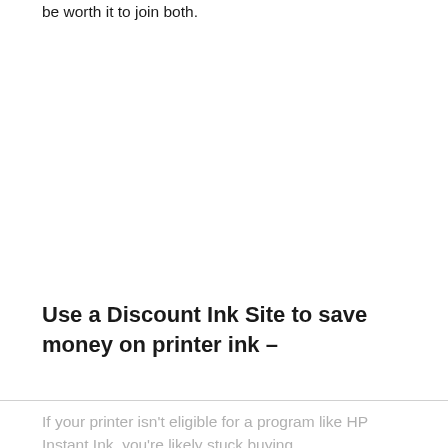be worth it to join both.
Use a Discount Ink Site to save money on printer ink –
If your printer isn't eligible for a program like HP Instant Ink, you're likely stuck buying